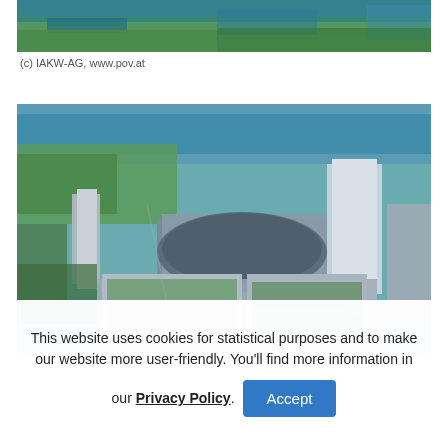[Figure (photo): Aerial view of waterfront with green parkland and river or lake visible from above — top portion of a larger aerial photo]
(c) IAKW-AG, www.pov.at
[Figure (photo): Aerial photograph of Vienna International Centre / Austria Center area showing modern architectural complex with curved buildings, conference centre, green rooftops, and the Danube river in the background]
This website uses cookies for statistical purposes and to make our website more user-friendly. You'll find more information in our Privacy Policy.